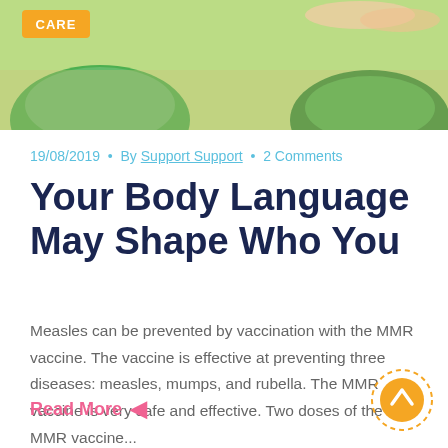[Figure (photo): Green colored children's play/learning items on carpet background with CARE badge overlay]
19/08/2019 • By Support Support • 2 Comments
Your Body Language May Shape Who You
Measles can be prevented by vaccination with the MMR vaccine. The vaccine is effective at preventing three diseases: measles, mumps, and rubella. The MMR vaccine is very safe and effective. Two doses of the MMR vaccine...
Read More ←